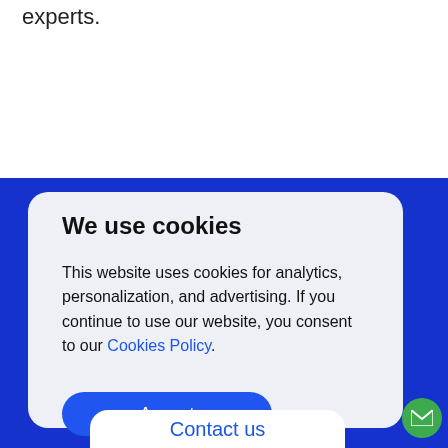experts.
[Figure (screenshot): Cookie consent dialog box with blue background, light gray card containing 'We use cookies' title, description text, a blue Accept button, a Contact us bar at the bottom, and a green mail button in the corner.]
We use cookies
This website uses cookies for analytics, personalization, and advertising. If you continue to use our website, you consent to our Cookies Policy.
Accept
Contact us